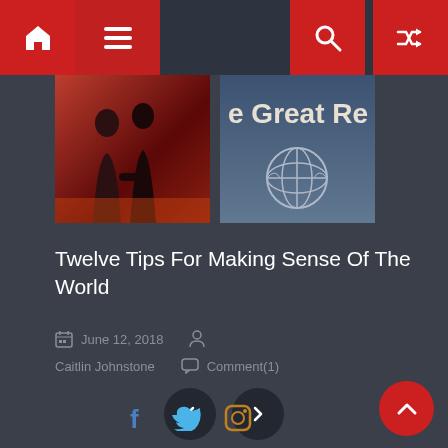Navigation bar with home, menu, search, and shuffle icons
[Figure (photo): Two thumbnail images side by side: left shows silhouettes of people with reddish background, right shows text 'e Great Re' with UN emblem on blue/grey background]
Twelve Tips For Making Sense Of The World
June 12, 2018
Caitlin Johnstone   Comment(1)
[Figure (other): Left and right navigation arrow buttons (chevrons) on dark circular backgrounds]
[Figure (other): Social media icons: Facebook (f), Twitter (bird), Instagram (camera outline)]
[Figure (other): Back to top button: red circle with upward chevron arrow]